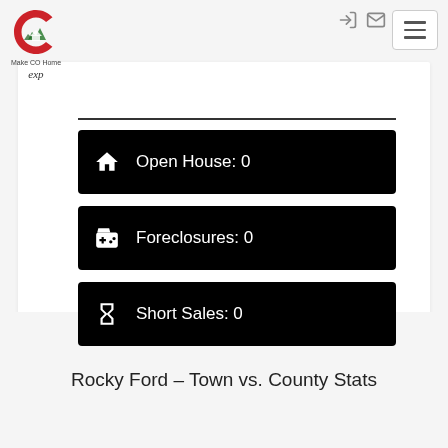[Figure (logo): Make CO Home eXp Realty logo with Colorado C icon]
Open House: 0
Foreclosures: 0
Short Sales: 0
Rocky Ford – Town vs. County Stats